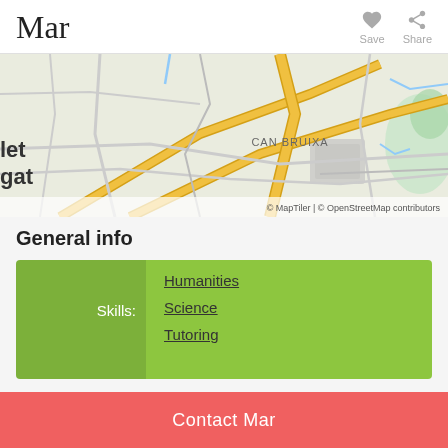Mar
[Figure (map): Street map showing area around Can Bruixa, with roads and geographic features. Attribution: © MapTiler | © OpenStreetMap contributors]
General info
| Skills: |  |
| --- | --- |
| Skills: | Humanities
Science
Tutoring |
Contact Mar